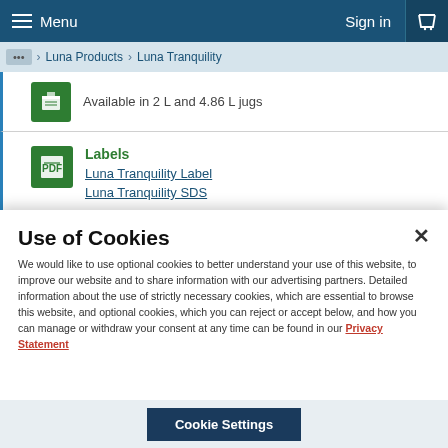Menu | Sign in | Cart
... > Luna Products > Luna Tranquility
Available in 2 L and 4.86 L jugs
Labels
Luna Tranquility Label
Luna Tranquility SDS
Use of Cookies
We would like to use optional cookies to better understand your use of this website, to improve our website and to share information with our advertising partners. Detailed information about the use of strictly necessary cookies, which are essential to browse this website, and optional cookies, which you can reject or accept below, and how you can manage or withdraw your consent at any time can be found in our Privacy Statement
Cookie Settings